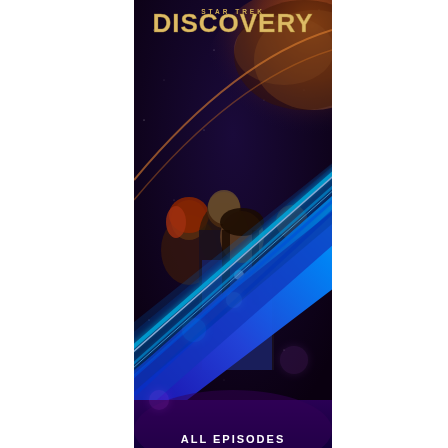[Figure (illustration): Star Trek Discovery TV show promotional poster. The poster shows the title 'STAR TREK DISCOVERY' at the top with golden/metallic text against a deep space background with a planet and orange glow. Four cast members are shown: a woman with red hair, an alien with a bald ridged head, a Black woman with long braids in the foreground wearing a Starfleet uniform, and a Black man to the right. A large glowing blue and cyan diagonal streak (representing a starship or warp effect) dominates the middle and lower portion of the image. The background transitions from dark space/purple at the bottom to orange planetary glow at the top. At the bottom in white text: 'ALL EPISODES'.]